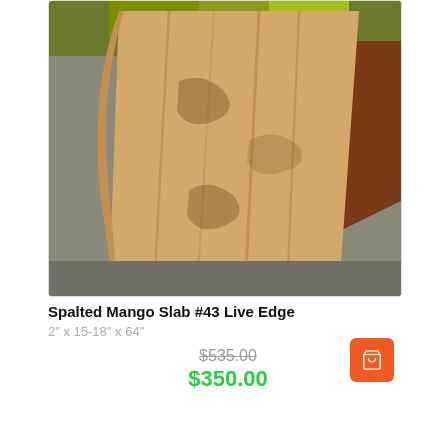[Figure (photo): A spalted mango live edge wood slab displayed on a yellow metal cart with caster wheels. The slab shows natural wood grain patterns with spalting marks in light tan and brown tones. Background shows outdoor foliage.]
Spalted Mango Slab #43 Live Edge
2" x 15-18" x 64"
$535.00 (strikethrough original price) $350.00 (sale price)